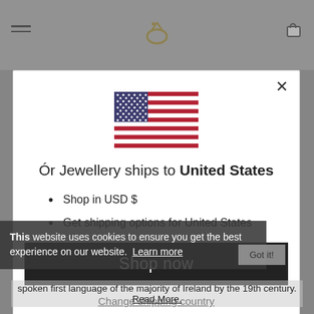[Figure (screenshot): Website header with hamburger menu, Ór Jewellery logo, and cart icon on grey background]
[Figure (illustration): US flag emoji/image centered in the modal]
Ór Jewellery ships to United States
Shop in USD $
Get shipping options for United States
Shop now
Change shipping country
This website uses cookies to ensure you get the best experience on our website.  Learn more
spoken first language of the majority of Ireland by the 19th century. Read More.